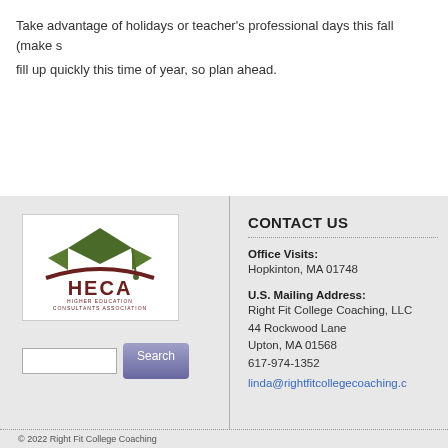Take advantage of holidays or teacher's professional days this fall (make s... fill up quickly this time of year, so plan ahead.
[Figure (logo): HECA – Higher Education Consultants Association logo with graduation cap and swoosh]
Search
CONTACT US
Office Visits:
Hopkinton, MA 01748
U.S. Mailing Address:
Right Fit College Coaching, LLC
44 Rockwood Lane
Upton, MA 01568
617-974-1352
linda@rightfitcollegecoaching.c...
© 2022 Right Fit College Coaching